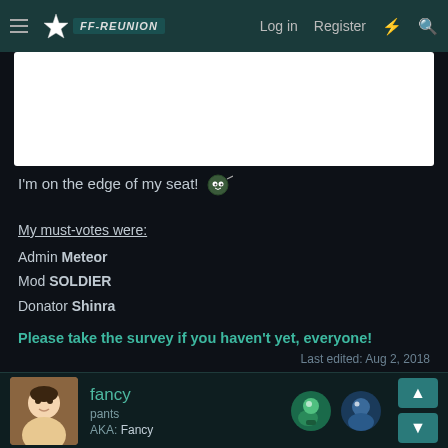≡  [site logo]  Log in  Register  ⚡  🔍
[Figure (photo): White rectangular image placeholder area (banner image)]
I'm on the edge of my seat! 🎃
My must-votes were:
Admin Meteor
Mod SOLDIER
Donator Shinra
Please take the survey if you haven't yet, everyone!
Last edited: Aug 2, 2018
fancy
pants
AKA: Fancy